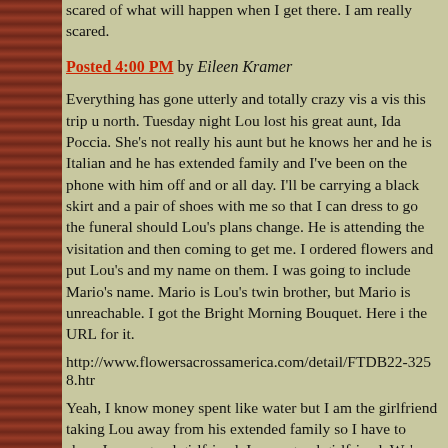scared of what will happen when I get there. I am really scared.
Posted 4:00 PM by Eileen Kramer
Everything has gone utterly and totally crazy vis a vis this trip up north. Tuesday night Lou lost his great aunt, Ida Poccia. She's not really his aunt but he knows her and he is Italian and he has extended family and I've been on the phone with him off and on all day. I'll be carrying a black skirt and a pair of shoes with me so that I can dress to go the funeral should Lou's plans change. He is attending the visitation and then coming to get me. I ordered flowers and put Lou's and my name on them. I was going to include Mario's name. Mario is Lou's twin brother, but Mario is unreachable. I got the Bright Morning Bouquet. Here is the URL for it.
http://www.flowersacrossamerica.com/detail/FTDB22-3258.htm
Yeah, I know money spent like water but I am the girlfriend taking Lou away from his extended family so I have to show I am a good girlfriend. I am a good girlfriend. We've had this trip planned by weeks. Ida is a DISTANT RELATION of Lou's. You get the idea.